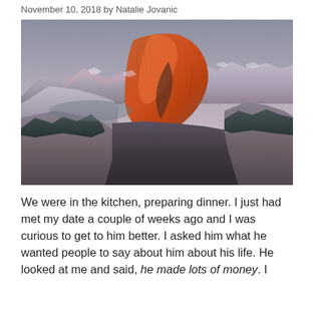November 10, 2018 by Natalie Jovanic
[Figure (photo): Landscape photograph of Half Dome in Yosemite National Park at sunset/dusk. The iconic granite dome glows orange-red in the center of the frame, illuminated by warm alpenglow light. Surrounding mountains and valley are visible in cooler blue-grey tones. Sky is overcast with soft purple-grey clouds.]
We were in the kitchen, preparing dinner. I just had met my date a couple of weeks ago and I was curious to get to him better. I asked him what he wanted people to say about him about his life. He looked at me and said, he made lots of money. I